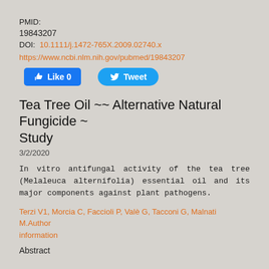PMID:
19843207
DOI:  10.1111/j.1472-765X.2009.02740.x
https://www.ncbi.nlm.nih.gov/pubmed/19843207
[Figure (other): Like 0 and Tweet social media buttons]
Tea Tree Oil ~~ Alternative Natural Fungicide ~ Study
3/2/2020
In vitro antifungal activity of the tea tree (Melaleuca alternifolia) essential oil and its major components against plant pathogens.
Terzi V1, Morcia C, Faccioli P, Valè G, Tacconi G, Malnati M.Author information
Abstract